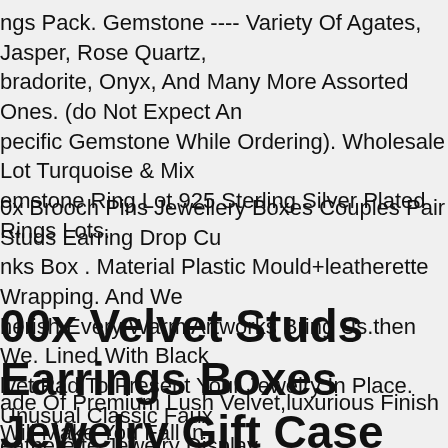ngs Pack. Gemstone ---- Variety Of Agates, Jasper, Rose Quartz, bradorite, Onyx, And Many More Assorted Ones. (do Not Expect Any pecific Gemstone While Ordering). Wholesale Lot Turquoise & Mix emstone Ring Lot 925 Sterling Silver Plated Rings Lots.
0x Brooch Pins Jewellery Boxes Couples Pair Studs Earring Drop Cu nks Box . Material Plastic Mould+leatherette Wrapping. And We herish Every Warm Artworks Bring Us.then We. Lined With Black lvet Pad To Present Your Jewelry In Place. Unusual Classic Faux eatherette Jewelry Display.
00x Velvet Studs Earrings Boxes Jewelry Gift Case Small Red Ring Bearer Box
ade Of Premium Lush Velvet,luxurious Finish Will Make You Fall In ve At First Container. Single Ring Box External 6x4.5cmh(2"x2.4"x1.8"h). It's Our Belief That When Giving A Special ft,presentation Is Everything.